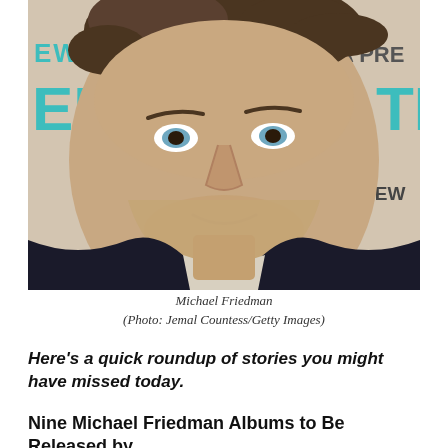[Figure (photo): Close-up photo of Michael Friedman, a man with curly brown hair and blue eyes, slight stubble, wearing a dark jacket. Background shows a teal/white event banner with partial text 'EW YO', 'PRE', 'ER', 'TH', '& NEW', 'E', 'WE'.]
Michael Friedman
(Photo: Jemal Countess/Getty Images)
Here’s a quick roundup of stories you might have missed today.
Nine Michael Friedman Albums to Be Released by